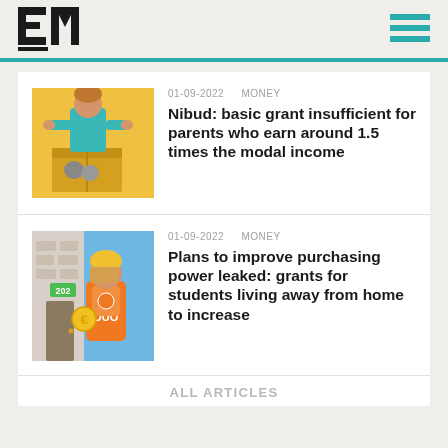EM
[Figure (illustration): Illustration of a young man in a teal jacket looking into a cardboard box containing cats, yellow background]
01-09-2022   MONEY
Nibud: basic grant insufficient for parents who earn around 1.5 times the modal income
[Figure (illustration): Illustration of a student in orange DUO jacket delivering items to an apartment door number 202, euro coin symbol visible]
01-09-2022   MONEY
Plans to improve purchasing power leaked: grants for students living away from home to increase
ALL ARTICLES